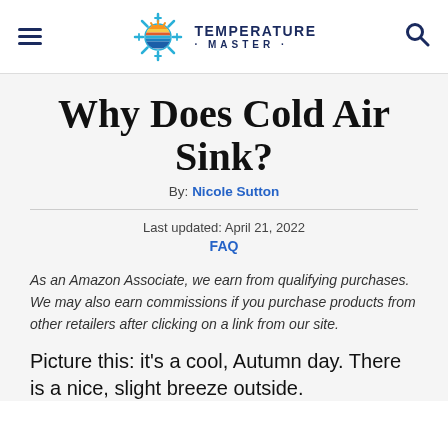Temperature Master
Why Does Cold Air Sink?
By: Nicole Sutton
Last updated: April 21, 2022
FAQ
As an Amazon Associate, we earn from qualifying purchases. We may also earn commissions if you purchase products from other retailers after clicking on a link from our site.
Picture this: it's a cool, Autumn day. There is a nice, slight breeze outside.